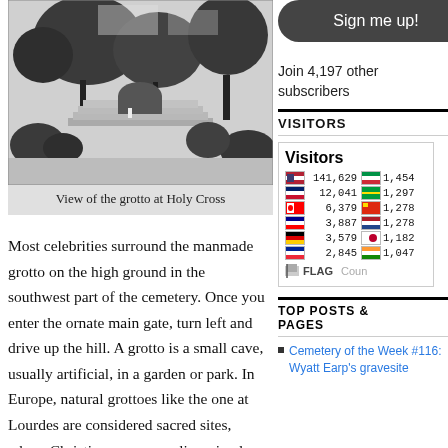[Figure (photo): Black and white photograph of the grotto at Holy Cross cemetery, showing trees, stairs, and landscape]
View of the grotto at Holy Cross
Most celebrities surround the manmade grotto on the high ground in the southwest part of the cemetery. Once you enter the ornate main gate, turn left and drive up the hill. A grotto is a small cave, usually artificial, in a garden or park. In Europe, natural grottoes like the one at Lourdes are considered sacred sites, where Christian or even earlier miracles have occurred. In Los Angeles, they build their own grottoes and no one expects miracles.
Sign me up!
Join 4,197 other subscribers
VISITORS
[Figure (screenshot): Flag Counter widget showing visitor counts by country: US 141,629 / IT 1,454 / GB 12,041 / BR 1,297 / CA 6,379 / CN 1,278 / AU 3,887 / NL 1,278 / DE 3,579 / JP 1,182 / FR 2,845 / IN 1,047]
TOP POSTS & PAGES
Cemetery of the Week #116: Wyatt Earp's gravesite